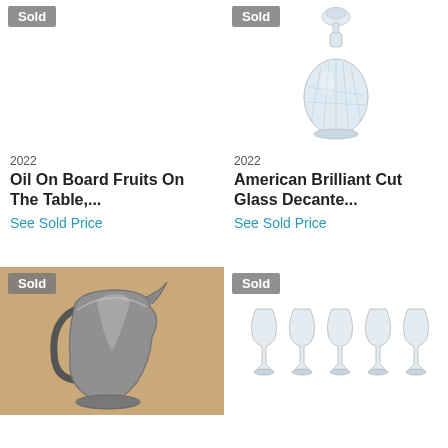[Figure (photo): Sold badge and empty white area for Oil On Board Fruits painting (image not shown)]
2022
Oil On Board Fruits On The Table,...
See Sold Price
[Figure (photo): Glass decanter with stopper, American Brilliant Cut Glass, with Sold badge]
2022
American Brilliant Cut Glass Decante...
See Sold Price
[Figure (photo): Pewter pitcher/jug on tan background, with Sold badge]
[Figure (photo): Five clear glass goblets/cordials in a row, with Sold badge]